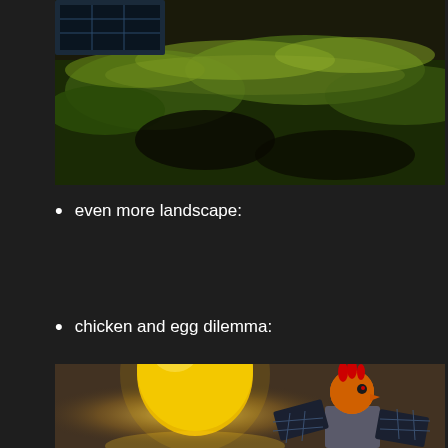[Figure (photo): Aerial or ground-level view of green grass landscape with dark soil patches and solar panels visible in upper left corner]
even more landscape:
chicken and egg dilemma:
[Figure (illustration): 3D rendered image of a glowing yellow egg/orb on the left and a robotic chicken with red comb on top of a satellite/solar panel device on the right, against a dark brownish background]